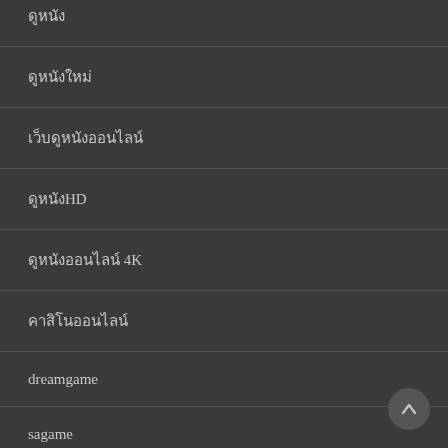ดูหนัง
ดูหนังใหม่
เว็บดูหนังออนไลน์
ดูหนังHD
ดูหนังออนไลน์ 4K
คาสิโนออนไลน์
dreamgame
sagame
สล็อตออนไลน์
Recent Posts
Tackling Difficult Interview Questions
Can This Database Be Relied On?